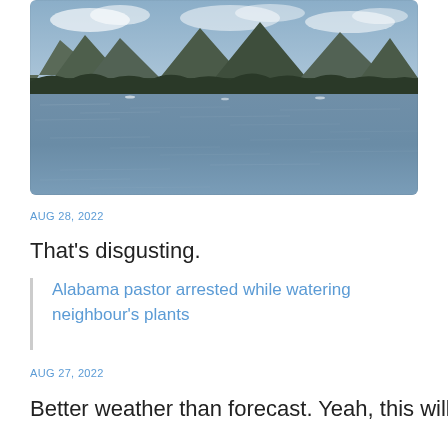[Figure (photo): Landscape photograph of a lake with mountains and trees in the background under a partly cloudy sky. The water surface shows ripples. Several small boats or objects are visible on the water.]
AUG 28, 2022
That’s disgusting.
Alabama pastor arrested while watering neighbour’s plants
AUG 27, 2022
Better weather than forecast. Yeah, this will do.